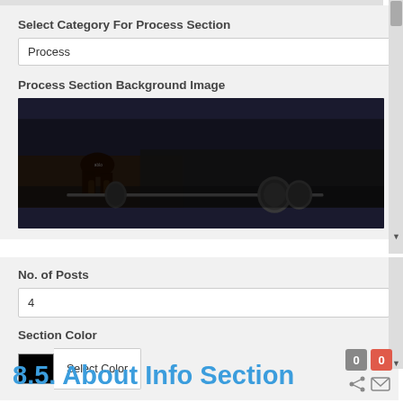Select Category For Process Section
Process
Process Section Background Image
[Figure (photo): Dark image of a person performing a deadlift with heavy barbell weights in a gym setting]
No. of Posts
4
Section Color
Select Color
8.5. About Info Section